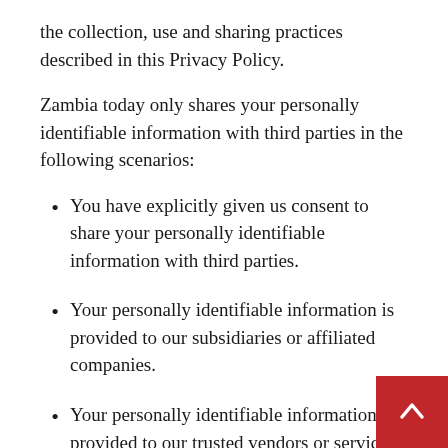the collection, use and sharing practices described in this Privacy Policy.
Zambia today only shares your personally identifiable information with third parties in the following scenarios:
You have explicitly given us consent to share your personally identifiable information with third parties.
Your personally identifiable information is provided to our subsidiaries or affiliated companies.
Your personally identifiable information is provided to our trusted vendors or service providers in order to perform a service for Zambia today. These companies are authorized